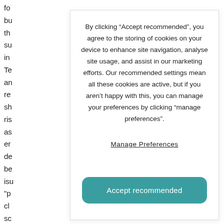fo bu th su in Te an re sh ris as er de be isu "p cl sc te th
By clicking “Accept recommended”, you agree to the storing of cookies on your device to enhance site navigation, analyse site usage, and assist in our marketing efforts. Our recommended settings mean all these cookies are active, but if you aren’t happy with this, you can manage your preferences by clicking “manage preferences”.
Manage Preferences
Accept recommended